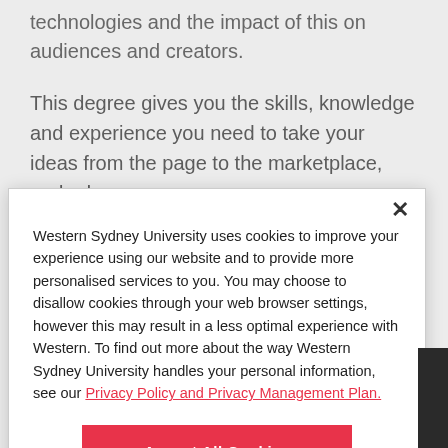technologies and the impact of this on audiences and creators.
This degree gives you the skills, knowledge and experience you need to take your ideas from the page to the marketplace, and advance your career.
Western Sydney University uses cookies to improve your experience using our website and to provide more personalised services to you. You may choose to disallow cookies through your web browser settings, however this may result in a less optimal experience with Western. To find out more about the way Western Sydney University handles your personal information, see our Privacy Policy and Privacy Management Plan.